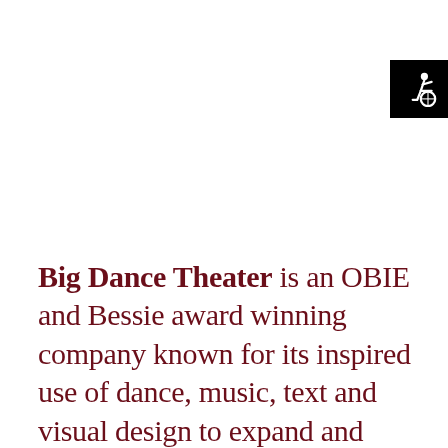[Figure (logo): Accessibility icon: white wheelchair accessibility symbol on black square background, positioned top right]
Big Dance Theater is an OBIE and Bessie award winning company known for its inspired use of dance, music, text and visual design to expand and refract literary texts, weaving disparate